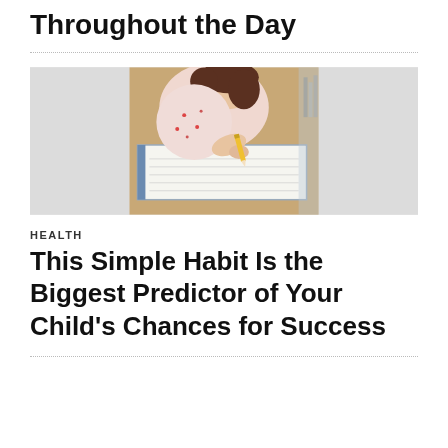Throughout the Day
[Figure (photo): A young girl with brown hair leaning over an open notebook/workbook, writing with a pencil. She is wearing a floral patterned top. The background shows a wooden desk surface and blurred bookshelf.]
HEALTH
This Simple Habit Is the Biggest Predictor of Your Child's Chances for Success